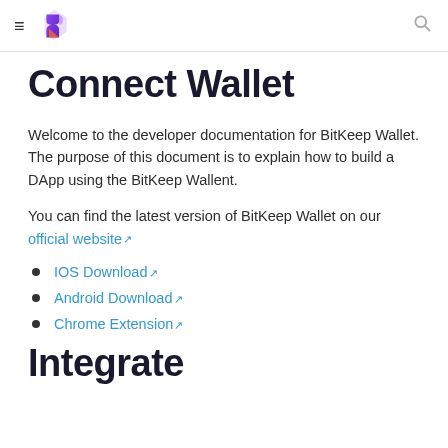BitKeep Wallet navigation header with hamburger menu, logo, and search icon
Connect Wallet
Welcome to the developer documentation for BitKeep Wallet. The purpose of this document is to explain how to build a DApp using the BitKeep Wallent.
You can find the latest version of BitKeep Wallet on our official website
IOS Download
Android Download
Chrome Extension
Integrate